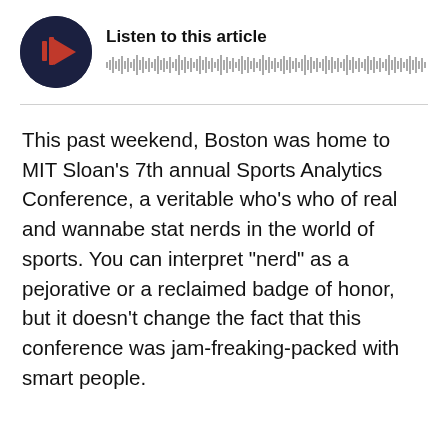[Figure (other): Audio player widget with dark circular play button showing red play icon with waveform bars, and a waveform visualization strip to the right with the title 'Listen to this article']
This past weekend, Boston was home to MIT Sloan's 7th annual Sports Analytics Conference, a veritable who's who of real and wannabe stat nerds in the world of sports. You can interpret "nerd" as a pejorative or a reclaimed badge of honor, but it doesn't change the fact that this conference was jam-freaking-packed with smart people.